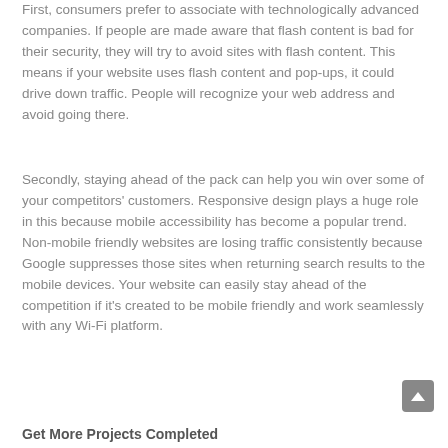First, consumers prefer to associate with technologically advanced companies. If people are made aware that flash content is bad for their security, they will try to avoid sites with flash content. This means if your website uses flash content and pop-ups, it could drive down traffic. People will recognize your web address and avoid going there.
Secondly, staying ahead of the pack can help you win over some of your competitors' customers. Responsive design plays a huge role in this because mobile accessibility has become a popular trend. Non-mobile friendly websites are losing traffic consistently because Google suppresses those sites when returning search results to the mobile devices. Your website can easily stay ahead of the competition if it's created to be mobile friendly and work seamlessly with any Wi-Fi platform.
Get More Projects Completed